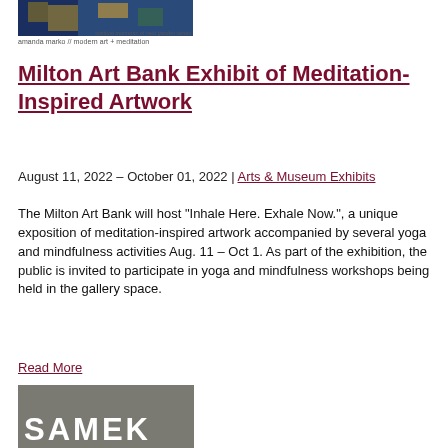[Figure (photo): Small artwork image with abstract painting in blue, yellow, and green tones at the top left]
amanda marko // modern art + meditation
Milton Art Bank Exhibit of Meditation-Inspired Artwork
August 11, 2022 – October 01, 2022 | Arts & Museum Exhibits
The Milton Art Bank will host "Inhale Here. Exhale Now.", a unique exposition of meditation-inspired artwork accompanied by several yoga and mindfulness activities Aug. 11 – Oct 1. As part of the exhibition, the public is invited to participate in yoga and mindfulness workshops being held in the gallery space.
Read More
[Figure (logo): SAMEK logo: gray square with large white bold text SAMEK]